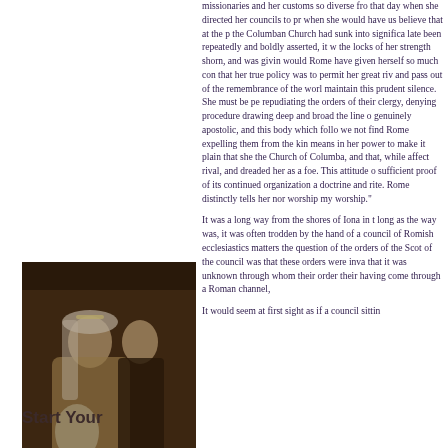missionaries and her customs so diverse from that day when she directed her councils to pro when she would have us believe that at the p the Columban Church had sunk into significa late been repeatedly and boldly asserted, it w the locks of her strength shorn, and was givin would Rome have given herself so much con that her true policy was to permit her great riv and pass out of the remembrance of the worl maintain this prudent silence. She must be pe repudiating the orders of their clergy, denying procedure drawing deep and broad the line o genuinely apostolic, and this body which follo we not find Rome expelling them from the kin means in her power to make it plain that she the Church of Columba, and that, while affect rival, and dreaded her as a foe. This attitude o sufficient proof of its continued organization a doctrine and rite. Rome distinctly tells her nor worship my worship."
It was a long way from the shores of Iona in t long as the way was, it was often trodden by the hand of a council of Romish ecclesiastics matters the question of the orders of the Scot of the council was that these orders were inva that it was unknown through whom their order their having come through a Roman channel,
[Figure (photo): Black and white vintage wedding photograph of a bride and groom, with MyHeritage logo overlay at top left of image. The bride wears a tiara and veil, holding a bouquet. The groom wears a dark suit.]
It would seem at first sight as if a council sittin